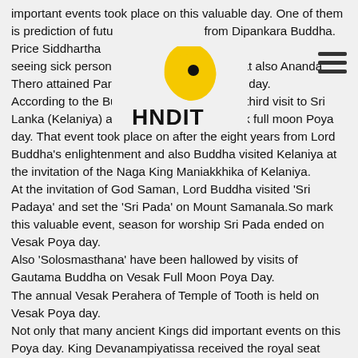important events took place on this valuable day. One of them is prediction of futu[re] from Dipankara Buddha. Price Siddhartha [renounce]d of lay life a[fter] seeing sick person on this [day. On th]at also Ananda Thero attained Pari nibbana on Vesak Poya day. According to the Buddhist history Buddha's third visit to Sri Lanka (Kelaniya) also took place on a Vesak full moon Poya day. That event took place on after the eight years from Lord Buddha's enlightenment and also Buddha visited Kelaniya at the invitation of the Naga King Maniakkhika of Kelaniya. At the invitation of God Saman, Lord Buddha visited 'Sri Padaya' and set the 'Sri Pada' on Mount Samanala.So mark this valuable event, season for worship Sri Pada ended on Vesak Poya day. Also 'Solosmasthana' have been hallowed by visits of Gautama Buddha on Vesak Full Moon Poya Day. The annual Vesak Perahera of Temple of Tooth is held on Vesak Poya day. Not only that many ancient Kings did important events on this Poya day. King Devanampiyatissa received the royal seat second time. The foundation stone for the 'Ruwanweli Seya' was laid by King Dutugamunu and King Vijaya arrived to sea port on a Vesak Poya day.
[Figure (logo): HNDIT logo with a yellow teardrop/bird shape with black dot, and bold black text 'HNDIT' below]